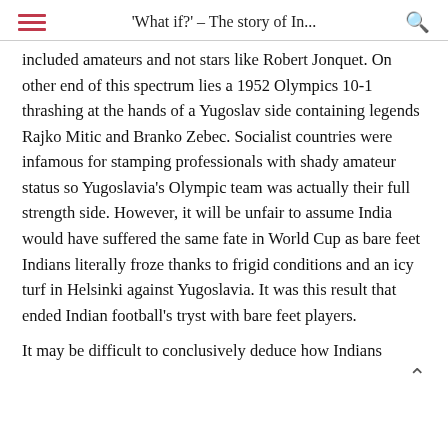'What if?' – The story of In...
included amateurs and not stars like Robert Jonquet. On other end of this spectrum lies a 1952 Olympics 10-1 thrashing at the hands of a Yugoslav side containing legends Rajko Mitic and Branko Zebec. Socialist countries were infamous for stamping professionals with shady amateur status so Yugoslavia's Olympic team was actually their full strength side. However, it will be unfair to assume India would have suffered the same fate in World Cup as bare feet Indians literally froze thanks to frigid conditions and an icy turf in Helsinki against Yugoslavia. It was this result that ended Indian football's tryst with bare feet players.
It may be difficult to conclusively deduce how Indians